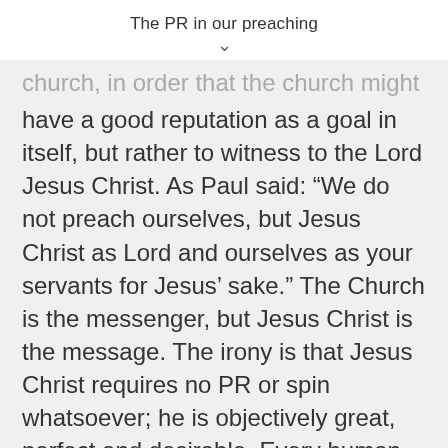The PR in our preaching
church, in order that the church might have a good reputation as a goal in itself, but rather to witness to the Lord Jesus Christ. As Paul said: “We do not preach ourselves, but Jesus Christ as Lord and ourselves as your servants for Jesus’ sake.” The Church is the messenger, but Jesus Christ is the message. The irony is that Jesus Christ requires no PR or spin whatsoever; he is objectively great, perfect and desirable. Every human being has been designed by God to find ultimate fulfilment in enjoying His glory – in St Augustine’s words: “You have made us for yourselves,